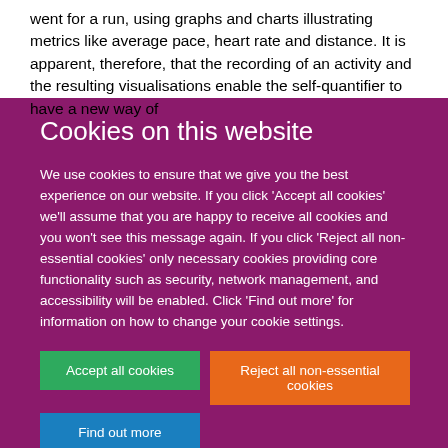went for a run, using graphs and charts illustrating metrics like average pace, heart rate and distance. It is apparent, therefore, that the recording of an activity and the resulting visualisations enable the self-quantifier to have a new way of
Cookies on this website
We use cookies to ensure that we give you the best experience on our website. If you click 'Accept all cookies' we'll assume that you are happy to receive all cookies and you won't see this message again. If you click 'Reject all non-essential cookies' only necessary cookies providing core functionality such as security, network management, and accessibility will be enabled. Click 'Find out more' for information on how to change your cookie settings.
Accept all cookies
Reject all non-essential cookies
Find out more